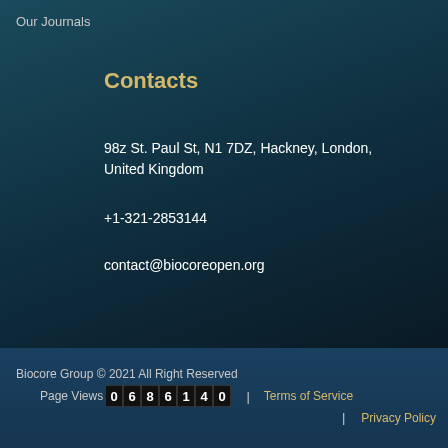Our Journals
Contacts
98z St. Paul St, N1 7DZ, Hackney, London, United Kingdom
+1-321-2853144
contact@biocoreopen.org
Biocore Group © 2021 All Right Reserved
Page Views 0 6 8 6 1 4 0 | Terms of Service | Privacy Policy